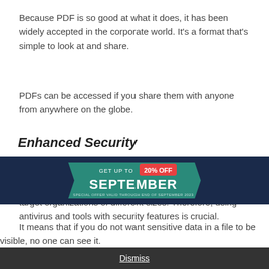Because PDF is so good at what it does, it has been widely accepted in the corporate world. It's a format that's simple to look at and share.
PDFs can be accessed if you share them with anyone from anywhere on the globe.
Enhanced Security
Security is crucial for organizations, as they virtually always deal with sensitive data. Cyber-attacks often target organizations of different sizes. Therefore, using antivirus and tools with security features is crucial.
[Figure (infographic): Dark blue banner advertisement with a teal/green tag shape containing text 'GET UP TO 20% OFF' in yellow, and 'SEPTEMBER' in large white bold letters with small subtitle text below.]
It means that if you do not want sensitive data in a file to be visible, no one can see it.
Dismiss